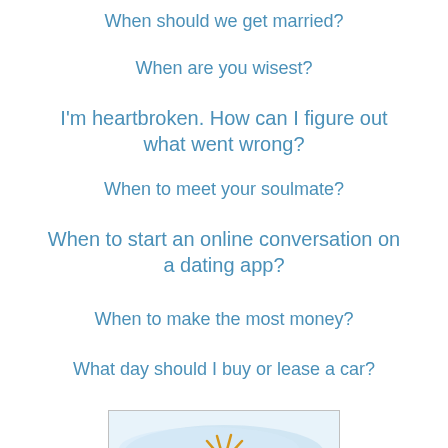When should we get married?
When are you wisest?
I'm heartbroken. How can I figure out what went wrong?
When to meet your soulmate?
When to start an online conversation on a dating app?
When to make the most money?
What day should I buy or lease a car?
[Figure (illustration): A hand-drawn golden/orange eye symbol on a light blue watercolor background inside a bordered box]